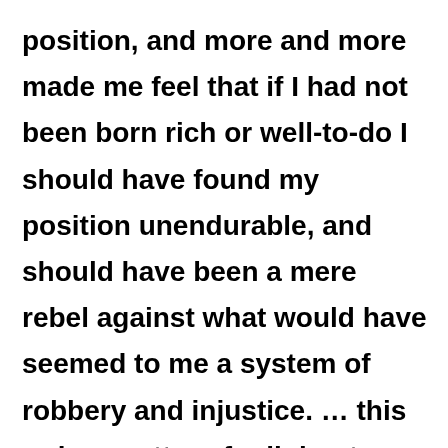position, and more and more made me feel that if I had not been born rich or well-to-do I should have found my position unendurable, and should have been a mere rebel against what would have seemed to me a system of robbery and injustice. … this … is a matter of religion to me: the contrasts of rich and poor … ought not to be endured by either